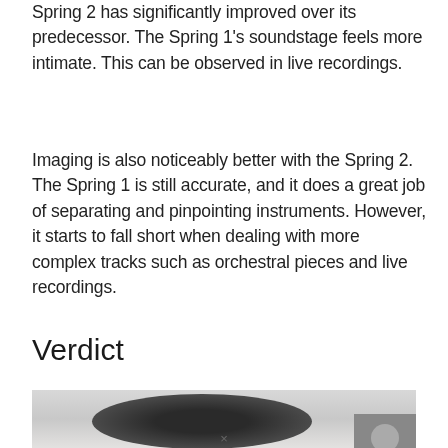Spring 2 has significantly improved over its predecessor. The Spring 1's soundstage feels more intimate. This can be observed in live recordings.
Imaging is also noticeably better with the Spring 2. The Spring 1 is still accurate, and it does a great job of separating and pinpointing instruments. However, it starts to fall short when dealing with more complex tracks such as orchestral pieces and live recordings.
Verdict
[Figure (photo): Close-up photo of headphone/earphone cable or earbud against a light background, with a grey badge/button element in the bottom-right corner.]
×